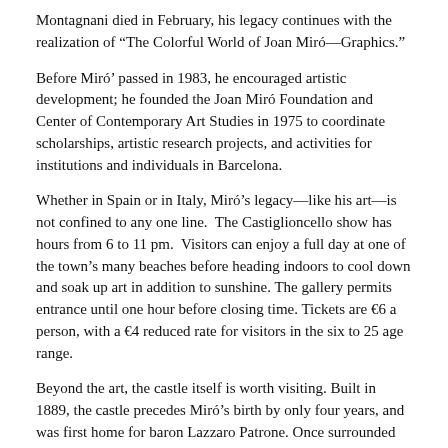Montagnani died in February, his legacy continues with the realization of “The Colorful World of Joan Miró—Graphics.”
Before Miró’ passed in 1983, he encouraged artistic development; he founded the Joan Miró Foundation and Center of Contemporary Art Studies in 1975 to coordinate scholarships, artistic research projects, and activities for institutions and individuals in Barcelona.
Whether in Spain or in Italy, Miró’s legacy—like his art—is not confined to any one line.  The Castiglioncello show has hours from 6 to 11 pm.  Visitors can enjoy a full day at one of the town’s many beaches before heading indoors to cool down and soak up art in addition to sunshine. The gallery permits entrance until one hour before closing time. Tickets are €6 a person, with a €4 reduced rate for visitors in the six to 25 age range.
Beyond the art, the castle itself is worth visiting. Built in 1889, the castle precedes Miró’s birth by only four years, and was first home for baron Lazzaro Patrone. Once surrounded by farm land, the castle is now fenced by the park, which was built in accordance with the aesthetics of the time period, as well as for logistical privacy reasons. Sold by the baron in 1938, the castle was bought by the Pasquini family in the ’40s and maintains the name as a reminder of its past today. Currently owned by the Municipality of Rosignano, Castello Pasquini has hosted